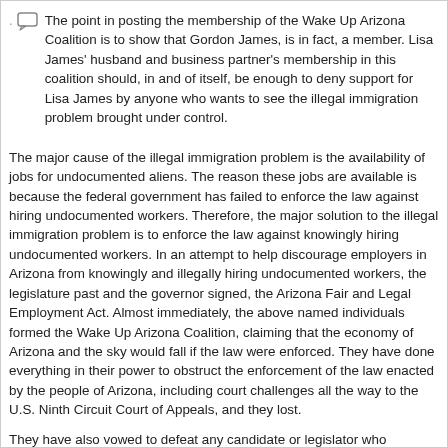The point in posting the membership of the Wake Up Arizona Coalition is to show that Gordon James, is in fact, a member. Lisa James' husband and business partner's membership in this coalition should, in and of itself, be enough to deny support for Lisa James by anyone who wants to see the illegal immigration problem brought under control.
The major cause of the illegal immigration problem is the availability of jobs for undocumented aliens. The reason these jobs are available is because the federal government has failed to enforce the law against hiring undocumented workers. Therefore, the major solution to the illegal immigration problem is to enforce the law against knowingly hiring undocumented workers. In an attempt to help discourage employers in Arizona from knowingly and illegally hiring undocumented workers, the legislature past and the governor signed, the Arizona Fair and Legal Employment Act. Almost immediately, the above named individuals formed the Wake Up Arizona Coalition, claiming that the economy of Arizona and the sky would fall if the law were enforced. They have done everything in their power to obstruct the enforcement of the law enacted by the people of Arizona, including court challenges all the way to the U.S. Ninth Circuit Court of Appeals, and they lost.
They have also vowed to defeat any candidate or legislator who supports employer sanctions, which they attempted to do against the law's author, Russell Pearce, and again they lost.
Now they are attempting to take over the Arizona Republican Party by having one of their operatives run for state chairman, and again they will loss.